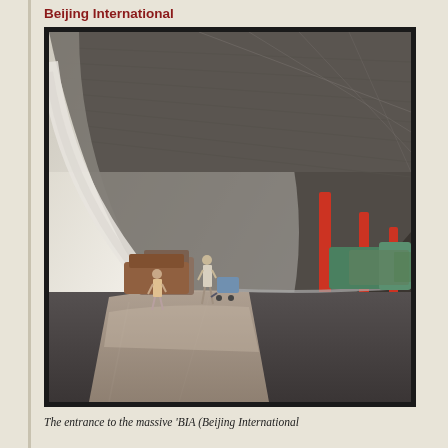Beijing International
[Figure (photo): Exterior view of Beijing International Airport terminal entrance showing the massive curved canopy roof, red support columns, a road with vehicles, pedestrians walking on a reflective tiled walkway, and open airport area beyond.]
The entrance to the massive 'BIA (Beijing International